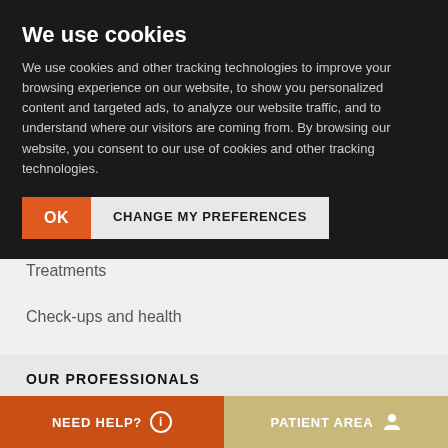We use cookies
We use cookies and other tracking technologies to improve your browsing experience on our website, to show you personalized content and targeted ads, to analyze our website traffic, and to understand where our visitors are coming from. By browsing our website, you consent to our use of cookies and other tracking technologies.
OK
CHANGE MY PREFERENCES
Treatments
Check-ups and health
OUR PROFESSIONALS
Meet the professionals
Medical Services
NEED HELP? ℹ  PATIENT AREA 👤